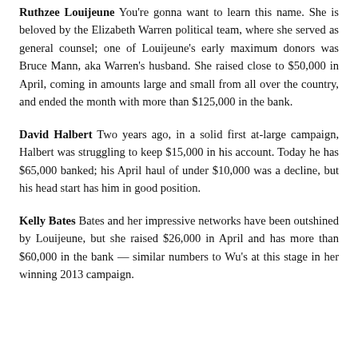Ruthzee Louijeune You're gonna want to learn this name. She is beloved by the Elizabeth Warren political team, where she served as general counsel; one of Louijeune's early maximum donors was Bruce Mann, aka Warren's husband. She raised close to $50,000 in April, coming in amounts large and small from all over the country, and ended the month with more than $125,000 in the bank.
David Halbert Two years ago, in a solid first at-large campaign, Halbert was struggling to keep $15,000 in his account. Today he has $65,000 banked; his April haul of under $10,000 was a decline, but his head start has him in good position.
Kelly Bates Bates and her impressive networks have been outshined by Louijeune, but she raised $26,000 in April and has more than $60,000 in the bank — similar numbers to Wu's at this stage in her winning 2013 campaign.